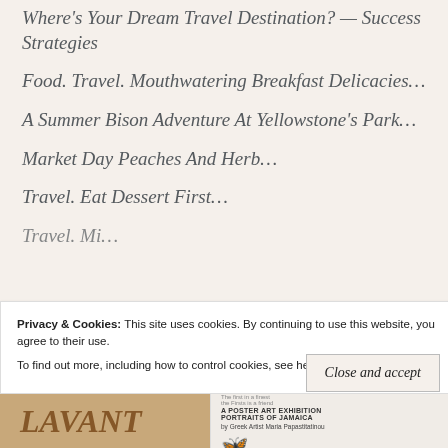Where’s Your Dream Travel Destination? — Success Strategies
Food. Travel. Mouthwatering Breakfast Delicacies…
A Summer Bison Adventure At Yellowstone’s Park…
Market Day Peaches And Herb…
Travel. Eat Dessert First…
Privacy & Cookies: This site uses cookies. By continuing to use this website, you agree to their use.
To find out more, including how to control cookies, see here: Cookie Policy
[Figure (photo): Bottom strip showing partial images: decorative text/art on left, and a poster art exhibition about Portraits of Jamaica on the right]